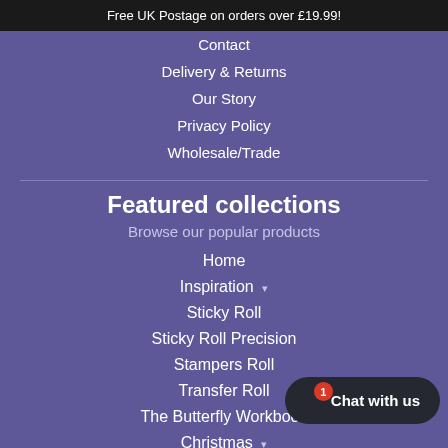Free UK Postage on orders over £19.99!
Contact
Delivery & Returns
Our Story
Privacy Policy
Wholesale/Trade
Featured collections
Browse our popular products
Home
Inspiration ▾
Sticky Roll
Sticky Roll Precision
Stampers Roll
Transfer Roll
The Butterfly Workbook
Christmas ▾
Tools